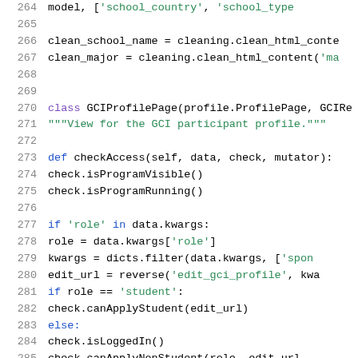[Figure (screenshot): Python source code listing showing lines 264-285, featuring class GCIProfilePage definition with checkAccess method, syntax highlighted in black, purple, green, and blue on white background]